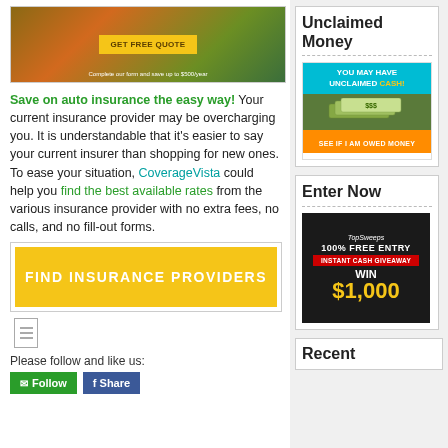[Figure (photo): Aerial landscape photo with yellow GET FREE QUOTE button and tagline]
Save on auto insurance the easy way! Your current insurance provider may be overcharging you. It is understandable that it's easier to say your current insurer than shopping for new ones. To ease your situation, CoverageVista could help you find the best available rates from the various insurance provider with no extra fees, no calls, and no fill-out forms.
[Figure (other): Yellow FIND INSURANCE PROVIDERS call-to-action button]
[Figure (other): Share icon placeholder]
Please follow and like us:
[Figure (other): Green Follow email button and blue Share button]
[Figure (other): Unclaimed Money advertisement: YOU MAY HAVE UNCLAIMED CASH! SEE IF I AM OWED MONEY]
[Figure (other): Enter Now TopSweeps 100% FREE ENTRY INSTANT CASH GIVEAWAY WIN $1,000 advertisement]
Recent